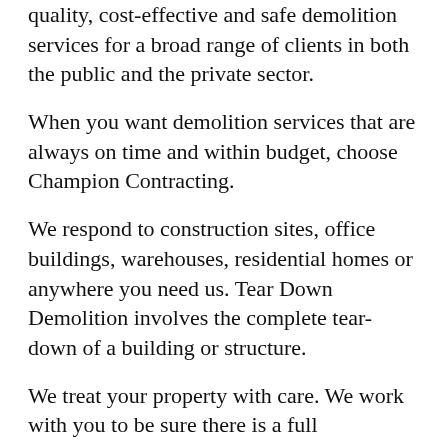quality, cost-effective and safe demolition services for a broad range of clients in both the public and the private sector.
When you want demolition services that are always on time and within budget, choose Champion Contracting.
We respond to construction sites, office buildings, warehouses, residential homes or anywhere you need us. Tear Down Demolition involves the complete tear-down of a building or structure.
We treat your property with care. We work with you to be sure there is a full understanding between you or your team and us. Ongoing communication is important to ensure the entire project is a success from start to finish.
Some of the other services offered include land clearing, site preparation, excavation, bull dozer clearing, and bush